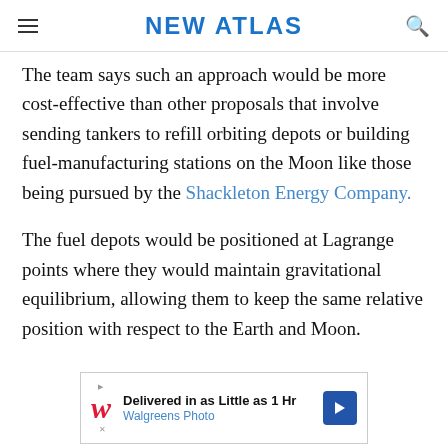NEW ATLAS
The team says such an approach would be more cost-effective than other proposals that involve sending tankers to refill orbiting depots or building fuel-manufacturing stations on the Moon like those being pursued by the Shackleton Energy Company.
The fuel depots would be positioned at Lagrange points where they would maintain gravitational equilibrium, allowing them to keep the same relative position with respect to the Earth and Moon.
[Figure (other): Advertisement banner for Walgreens Photo: 'Delivered in as Little as 1 Hr' with Walgreens logo and blue diamond arrow icon]